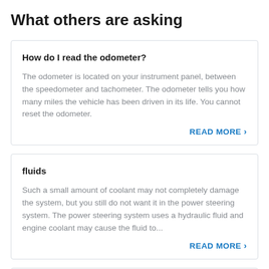What others are asking
How do I read the odometer?
The odometer is located on your instrument panel, between the speedometer and tachometer. The odometer tells you how many miles the vehicle has been driven in its life. You cannot reset the odometer.
READ MORE >
fluids
Such a small amount of coolant may not completely damage the system, but you still do not want it in the power steering system. The power steering system uses a hydraulic fluid and engine coolant may cause the fluid to...
READ MORE >